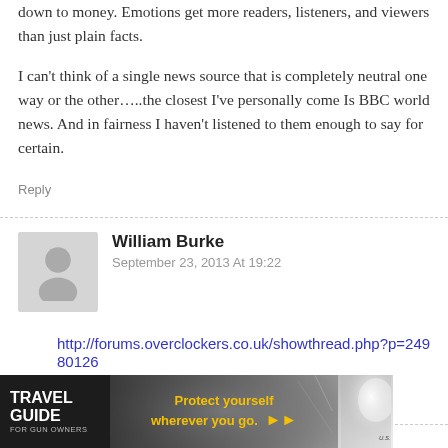down to money. Emotions get more readers, listeners, and viewers than just plain facts.

I can't think of a single news source that is completely neutral one way or the other…..the closest I've personally come Is BBC world news. And in fairness I haven't listened to them enough to say for certain.
Reply
William Burke
September 23, 2013 At 19:22
http://forums.overclockers.co.uk/showthread.php?p=24980126
Reply
[Figure (photo): Advertisement banner: Travel Guide for Gun Owners - Protect yourself wherever you go, with US LawShield branding]